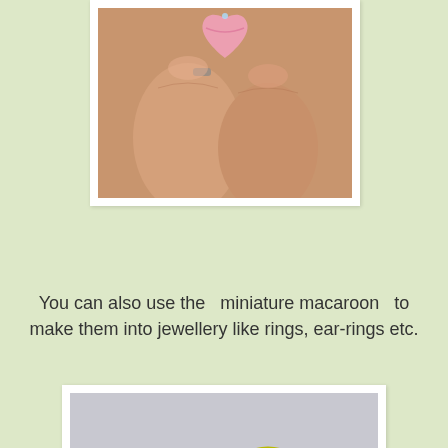[Figure (photo): Close-up photo of a hand wearing a pink heart-shaped macaroon ring on a finger]
You can also use the  miniature macaroon  to make them into jewellery like rings, ear-rings etc.
[Figure (photo): Photo of several miniature macaron items (blue, pink, heart-shaped pink, green) displayed on a wooden box; one macaron is on a ring]